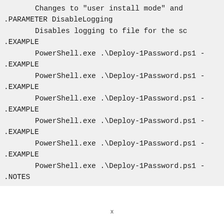Changes to "user install mode" and
.PARAMETER DisableLogging
Disables logging to file for the sc
.EXAMPLE
PowerShell.exe .\Deploy-1Password.ps1 -
.EXAMPLE
PowerShell.exe .\Deploy-1Password.ps1 -
.EXAMPLE
PowerShell.exe .\Deploy-1Password.ps1 -
.EXAMPLE
PowerShell.exe .\Deploy-1Password.ps1 -
.EXAMPLE
PowerShell.exe .\Deploy-1Password.ps1 -
.EXAMPLE
PowerShell.exe .\Deploy-1Password.ps1 -
.NOTES
x